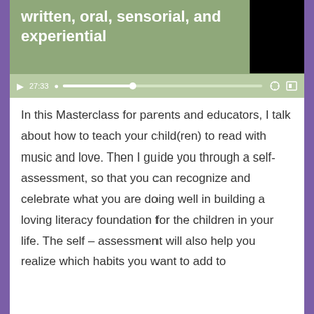[Figure (screenshot): Video player screenshot showing a green background with white bold text 'written, oral, sensorial, and experiential', a black box in the top right corner, and video player controls showing timestamp 27:33 with a progress bar on a light green control bar.]
In this Masterclass for parents and educators, I talk about how to teach your child(ren) to read with music and love. Then I guide you through a self-assessment, so that you can recognize and celebrate what you are doing well in building a loving literacy foundation for the children in your life. The self – assessment will also help you realize which habits you want to add to